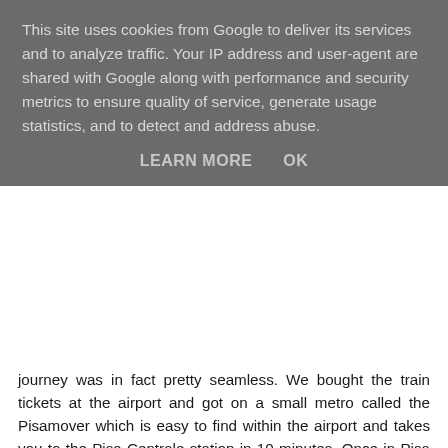This site uses cookies from Google to deliver its services and to analyze traffic. Your IP address and user-agent are shared with Google along with performance and security metrics to ensure quality of service, generate usage statistics, and to detect and address abuse.
LEARN MORE   OK
journey was in fact pretty seamless. We bought the train tickets at the airport and got on a small metro called the Pisamover which is easy to find within the airport and takes you to the Pisa Centrale station in 10 minutes. Once in Pisa Centrale we then got a train to Florence, the journey on the way took 48 minutes. The price of the combination ticket was 11.30 euros each.
Before booking the trip we decided we would want quite a central hotel as we knew we wanted to take a few day trips to different parts of the country. The hotel we decided in was called the Hotel Caravaggio. It was an easy 10 minute walk from the train station to the hotel. The hotel was lovely, the staff was great and we opted for the bed and breakfast